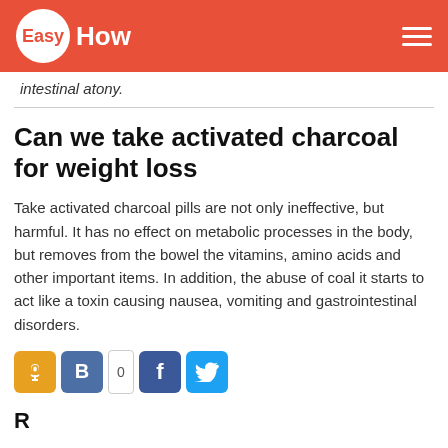EasyHow
intestinal atony.
Can we take activated charcoal for weight loss
Take activated charcoal pills are not only ineffective, but harmful. It has no effect on metabolic processes in the body, but removes from the bowel the vitamins, amino acids and other important items. In addition, the abuse of coal it starts to act like a toxin causing nausea, vomiting and gastrointestinal disorders.
[Figure (other): Social share buttons: OK (orange), VK (blue) with counter showing 0, Facebook (dark blue), Twitter (light blue)]